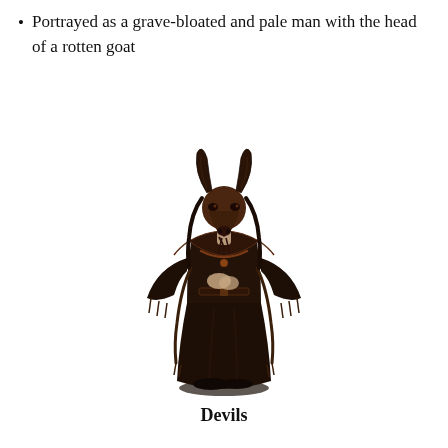Portrayed as a grave-bloated and pale man with the head of a rotten goat
[Figure (illustration): A dark-robed figure with the head of a goat, wearing elaborate dark ceremonial robes with tassels and decorative chains, standing upright with hands clasped, depicted in a dark fantasy art style.]
Devils